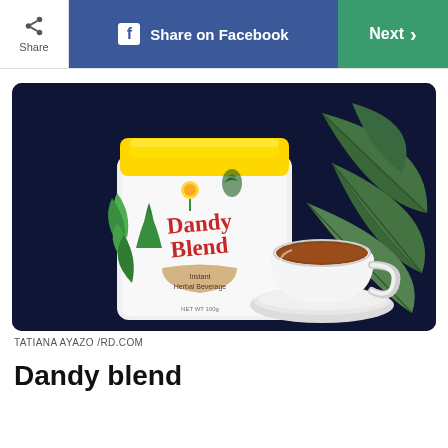Share | Share on Facebook | Next >
[Figure (illustration): Illustration of a Dandy Blend package (white pouch with yellow cap, green plants and yellow flower on label, red Dandy Blend text, 'Instant Herbal Beverage' sub-label) next to a white cup of dark herbal tea on a saucer, with large green leaves in the background, all on a dark navy background.]
TATIANA AYAZO /RD.COM
Dandy blend